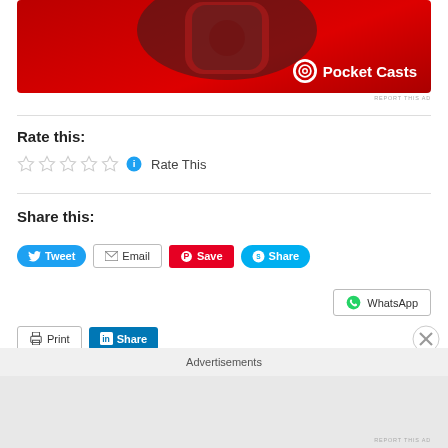[Figure (photo): Pocket Casts app advertisement banner with red background showing a smartwatch with the app, and Pocket Casts logo]
REPORT THIS AD
Rate this:
Rate This
Share this:
Tweet
Email
Save
Share
WhatsApp
Print
Share
Advertisements
REPORT THIS AD